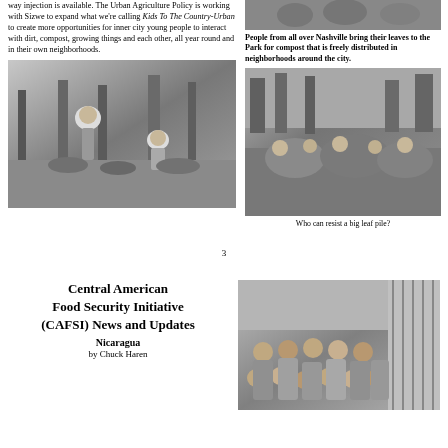way injection is available. The Urban Agriculture Policy is working with Sizwe to expand what we're calling Kids To The Country-Urban to create more opportunities for inner city young people to interact with dirt, compost, growing things and each other, all year round and in their own neighborhoods.
[Figure (photo): Black and white photo of children gardening outdoors, one child bending over plants]
[Figure (photo): Black and white photo of a crowd at an outdoor park gathering]
People from all over Nashville bring their leaves to the Park for compost that is freely distributed in neighborhoods around the city.
[Figure (photo): Black and white photo of children playing in a large leaf pile outdoors]
Who can resist a big leaf pile?
3
Central American Food Security Initiative (CAFSI) News and Updates
Nicaragua
by Chuck Haren
[Figure (photo): Black and white photo of a group of people, mostly women and children, posing together outdoors]